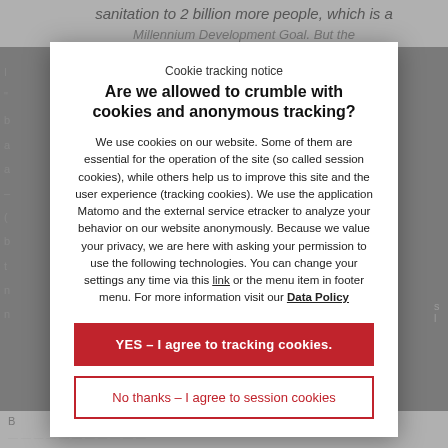sanitation to 2 billion more people, which is a Millennium Development Goal. But the
Cookie tracking notice
Are we allowed to crumble with cookies and anonymous tracking?
We use cookies on our website. Some of them are essential for the operation of the site (so called session cookies), while others help us to improve this site and the user experience (tracking cookies). We use the application Matomo and the external service etracker to analyze your behavior on our website anonymously. Because we value your privacy, we are here with asking your permission to use the following technologies. You can change your settings any time via this link or the menu item in footer menu. For more information visit our Data Policy
YES – I agree to tracking cookies.
No thanks – I agree to session cookies